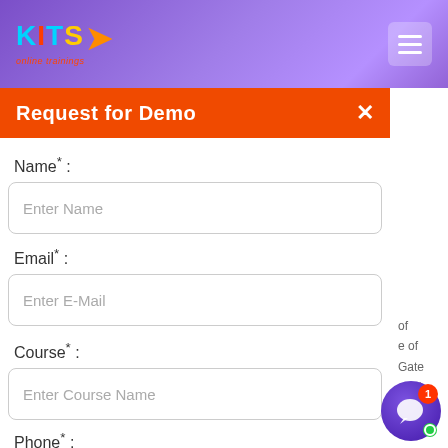KITS online trainings - navigation header
Request for Demo
Name* :
Enter Name
Email* :
Enter E-Mail
Course* :
Enter Course Name
Phone* :
Enter Phone Number